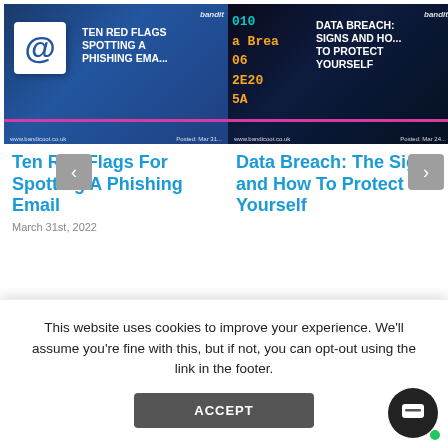[Figure (screenshot): Blog post thumbnail: TEN RED FLAGS SPOTTING A PHISHING EMAIL on blue background with @ symbol]
[Figure (screenshot): Blog post thumbnail: DATA BREACH: SIGNS AND HOW TO PROTECT YOURSELF on dark background with code overlay]
Ten Red Flags For Spotting A Phishing Email
March 31st, 2022
Data Breach: The Signs and How To Protect Yourself
This website uses cookies to improve your experience. We'll assume you're fine with this, but if not, you can opt-out using the link in the footer.